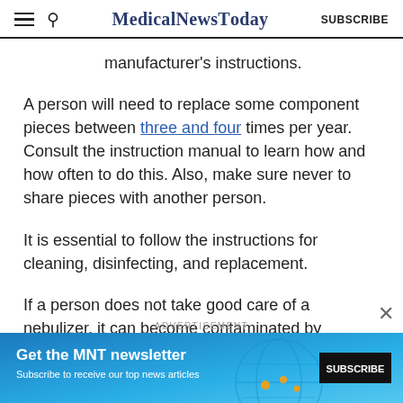MedicalNewsToday | SUBSCRIBE
manufacturer's instructions.
A person will need to replace some component pieces between three and four times per year. Consult the instruction manual to learn how and how often to do this. Also, make sure never to share pieces with another person.
It is essential to follow the instructions for cleaning, disinfecting, and replacement.
If a person does not take good care of a nebulizer, it can become contaminated by bacteria that can cause
[Figure (infographic): MNT newsletter advertisement banner with blue background: 'Get the MNT newsletter - Subscribe to receive our top news articles' with a SUBSCRIBE button]
ADVERTISEMENT